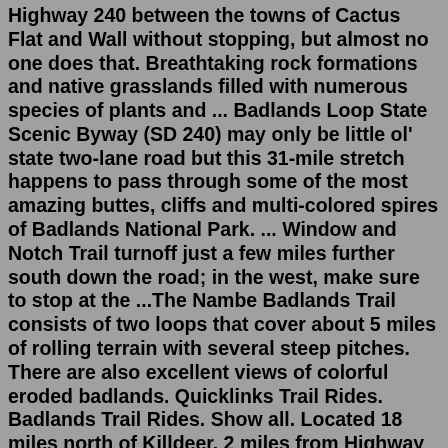Highway 240 between the towns of Cactus Flat and Wall without stopping, but almost no one does that. Breathtaking rock formations and native grasslands filled with numerous species of plants and ... Badlands Loop State Scenic Byway (SD 240) may only be little ol' state two-lane road but this 31-mile stretch happens to pass through some of the most amazing buttes, cliffs and multi-colored spires of Badlands National Park. ... Window and Notch Trail turnoff just a few miles further south down the road; in the west, make sure to stop at the ...The Nambe Badlands Trail consists of two loops that cover about 5 miles of rolling terrain with several steep pitches. There are also excellent views of colorful eroded badlands. Quicklinks Trail Rides. Badlands Trail Rides. Show all. Located 18 miles north of Killdeer, 2 miles from Highway 22. Horseback riding on thousands of acres of scenic Little Missouri River Badlands. Secluded wooded campground with panoramic views. Offers all kinds of camping & new handcrafted log cabins.